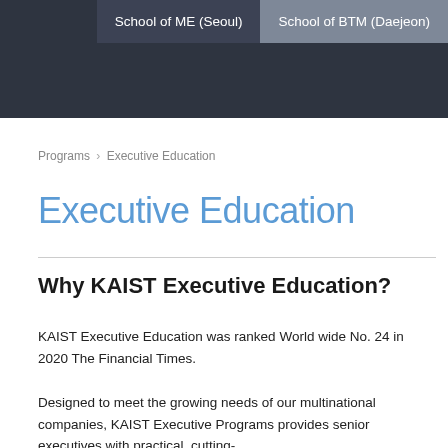School of ME (Seoul)  School of BTM (Daejeon)
Programs > Executive Education
Executive Education
Why KAIST Executive Education?
KAIST Executive Education was ranked World wide No. 24 in 2020 The Financial Times.
Designed to meet the growing needs of our multinational companies, KAIST Executive Programs provides senior executives with practical, cutting-